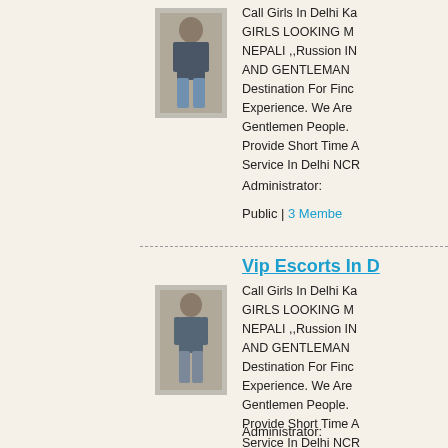[Figure (photo): Thumbnail photo of a woman in casual clothes]
Call Girls In Delhi Ka GIRLS LOOKING M NEPALI ,,Russion IN AND GENTLEMAN Destination For Finc Experience. We Are Gentlemen People. Provide Short Time A Service In Delhi NCR
Administrator:
Public | 3 Membe
[Figure (photo): Thumbnail photo of a woman]
Vip Escorts In D
Call Girls In Delhi Ka GIRLS LOOKING M NEPALI ,,Russion IN AND GENTLEMAN Destination For Finc Experience. We Are Gentlemen People. Provide Short Time A Service In Delhi NCR
Administrator: